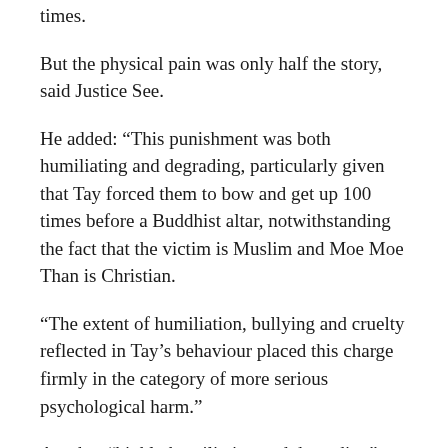times.
But the physical pain was only half the story, said Justice See.
He added: “This punishment was both humiliating and degrading, particularly given that Tay forced them to bow and get up 100 times before a Buddhist altar, notwithstanding the fact that the victim is Muslim and Moe Moe Than is Christian.
“The extent of humiliation, bullying and cruelty reflected in Tay’s behaviour placed this charge firmly in the category of more serious psychological harm.”
Another “highly humiliating and degrading” incident occurred when Tay forced the two maids to position